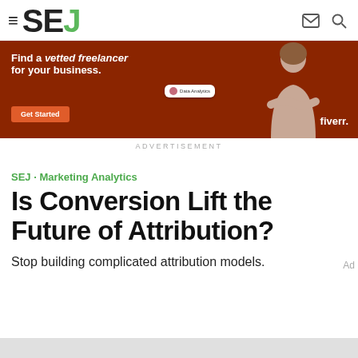SEJ
[Figure (photo): Fiverr advertisement banner: orange/brown background, woman in turtleneck sweater with crossed arms, text 'Find a vetted freelancer for your business.' with a Get Started button and Fiverr logo]
ADVERTISEMENT
SEJ · Marketing Analytics
Is Conversion Lift the Future of Attribution?
Stop building complicated attribution models.